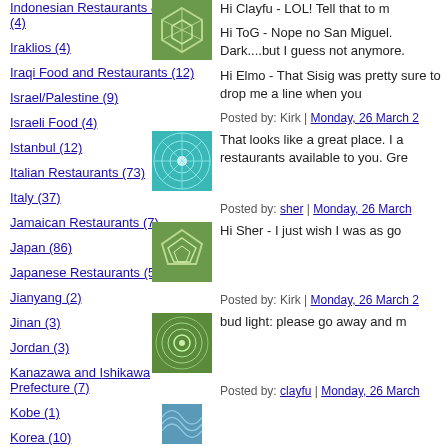Indonesian Restaurants & Food (4)
Iraklios (4)
Iraqi Food and Restaurants (12)
Israel/Palestine (9)
Israeli Food (4)
Istanbul (12)
Italian Restaurants (73)
Italy (37)
Jamaican Restaurants (7)
Japan (86)
Japanese Restaurants (505)
Jianyang (2)
Jinan (3)
Jordan (3)
Kanazawa and Ishikawa Prefecture (7)
Kobe (1)
Korea (10)
Hi Clayfu - LOL! Tell that to m
Hi ToG - Nope no San Miguel. Dark....but I guess not anymore.
Hi Elmo - That Sisig was pretty sure to drop me a line when you
Posted by: Kirk | Monday, 26 March 2
[Figure (illustration): Green pentagon/soccer-ball patterned avatar image]
That looks like a great place. I a restaurants available to you. Gre
Posted by: sher | Monday, 26 March
[Figure (illustration): Teal/cyan spiral web pattern avatar image]
Hi Sher - I just wish I was as go
Posted by: Kirk | Monday, 26 March 2
[Figure (illustration): Green pentagon pattern avatar image]
bud light: please go away and m
Posted by: clayfu | Monday, 26 March
[Figure (illustration): Green spiral/sunflower pattern avatar image]
[Figure (illustration): Blue/teal wave pattern avatar image (partial)]